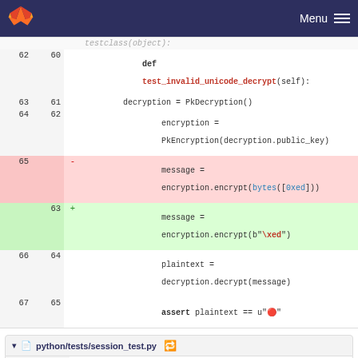GitLab navigation with logo and Menu
[Figure (screenshot): Code diff view showing Python test file with line numbers, removed and added lines for unicode decrypt test]
python/tests/session_test.py file header
[Figure (screenshot): Code diff for session_test.py showing removal of 'from builtins import bytes' lines and import pytest]